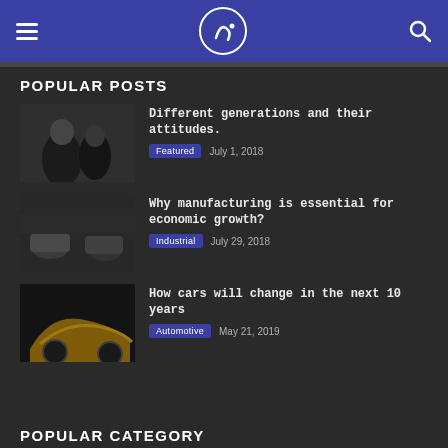Navigation header with hamburger menu, logo, and search icon
POPULAR POSTS
[Figure (photo): Black and white photo of two people, an older man and a younger woman, close together]
Different generations and their attitudes.
Featured   July 1, 2018
[Figure (photo): Black and white photo of cars in a manufacturing or racing environment]
Why manufacturing is essential for economic growth?
Industrial   July 29, 2018
[Figure (photo): Photo of a golden/yellow futuristic sports car from rear angle]
How cars will change in the next 10 years
Automotive   May 21, 2019
POPULAR CATEGORY